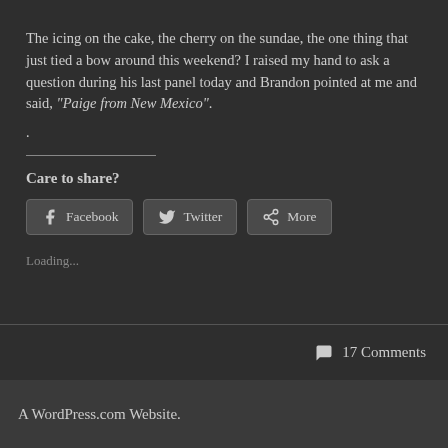The icing on the cake, the cherry on the sundae, the one thing that just tied a bow around this weekend? I raised my hand to ask a question during his last panel today and Brandon pointed at me and said, “Paige from New Mexico”.
.
Care to share?
[Figure (other): Social share buttons: Facebook, Twitter, More]
Loading...
17 Comments
A WordPress.com Website.